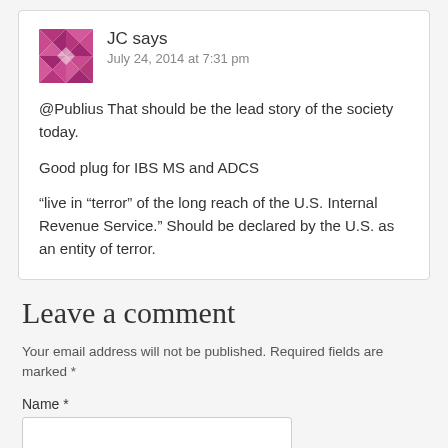JC says
July 24, 2014 at 7:31 pm
@Publius That should be the lead story of the society today.
Good plug for IBS MS and ADCS
“live in “terror” of the long reach of the U.S. Internal Revenue Service.” Should be declared by the U.S. as an entity of terror.
Leave a comment
Your email address will not be published. Required fields are marked *
Name *